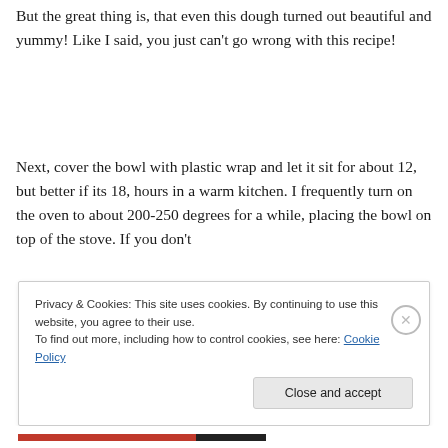But the great thing is, that even this dough turned out beautiful and yummy! Like I said, you just can't go wrong with this recipe!
Next, cover the bowl with plastic wrap and let it sit for about 12, but better if its 18, hours in a warm kitchen. I frequently turn on the oven to about 200-250 degrees for a while, placing the bowl on top of the stove. If you don't
Privacy & Cookies: This site uses cookies. By continuing to use this website, you agree to their use.
To find out more, including how to control cookies, see here: Cookie Policy
Close and accept